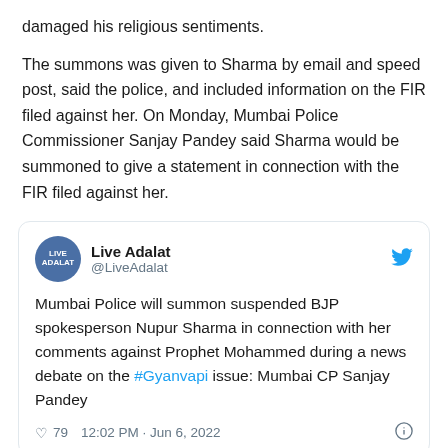damaged his religious sentiments.
The summons was given to Sharma by email and speed post, said the police, and included information on the FIR filed against her. On Monday, Mumbai Police Commissioner Sanjay Pandey said Sharma would be summoned to give a statement in connection with the FIR filed against her.
[Figure (screenshot): Embedded tweet from @LiveAdalat: 'Mumbai Police will summon suspended BJP spokesperson Nupur Sharma in connection with her comments against Prophet Mohammed during a news debate on the #Gyanvapi issue: Mumbai CP Sanjay Pandey' — 79 likes, 12:02 PM · Jun 6, 2022]